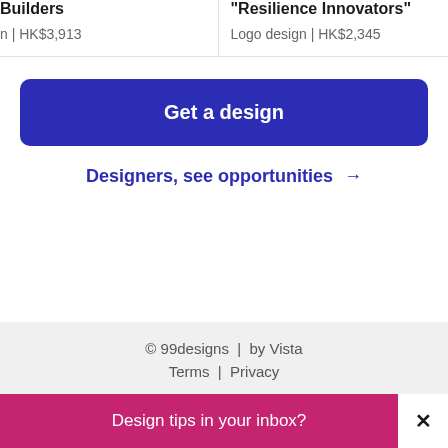Builders
n | HK$3,913
"Resilience Innovators"
Logo design | HK$2,345
Get a design
Designers, see opportunities →
© 99designs | by Vista
Terms | Privacy
Design tips in your inbox?